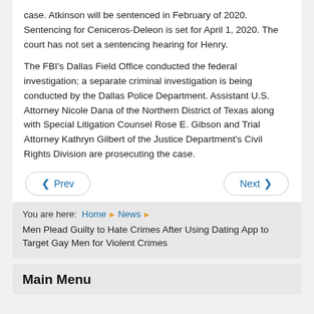case. Atkinson will be sentenced in February of 2020. Sentencing for Ceniceros-Deleon is set for April 1, 2020. The court has not set a sentencing hearing for Henry.
The FBI's Dallas Field Office conducted the federal investigation; a separate criminal investigation is being conducted by the Dallas Police Department. Assistant U.S. Attorney Nicole Dana of the Northern District of Texas along with Special Litigation Counsel Rose E. Gibson and Trial Attorney Kathryn Gilbert of the Justice Department's Civil Rights Division are prosecuting the case.
Prev | Next
Tweet
You are here: Home > News > Men Plead Guilty to Hate Crimes After Using Dating App to Target Gay Men for Violent Crimes
Main Menu